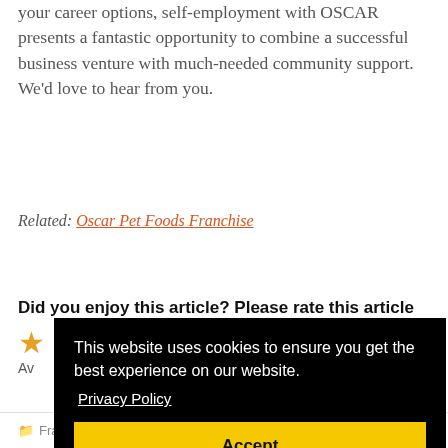your career options, self-employment with OSCAR presents a fantastic opportunity to combine a successful business venture with much-needed community support. We'd love to hear from you.
Related: Oscar Pet Foods Franchise
Did you enjoy this article? Please rate this article
[Figure (other): Star rating widget showing one orange star, with Average rating text partially visible]
[Figure (screenshot): Cookie consent banner with black background reading 'This website uses cookies to ensure you get the best experience on our website.' with Privacy Policy link and yellow Accept button]
Franchise News   Franchise, Oscar Pet Foods, Pet